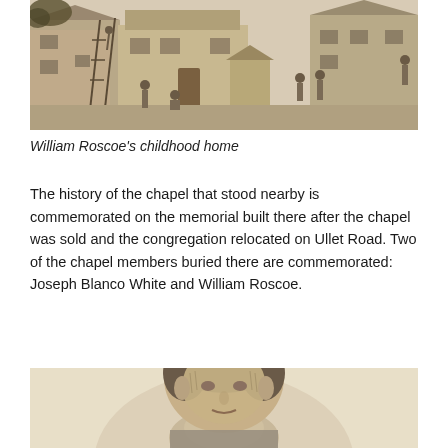[Figure (illustration): Historical engraving of William Roscoe's childhood home, showing a brick building with figures, a ladder, and people in a courtyard scene]
William Roscoe's childhood home
The history of the chapel that stood nearby is commemorated on the memorial built there after the chapel was sold and the congregation relocated on Ullet Road. Two of the chapel members buried there are commemorated: Joseph Blanco White and William Roscoe.
[Figure (illustration): Portrait sketch or photograph of a person, showing head and upper shoulders, partially cropped]